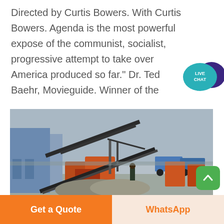Directed by Curtis Bowers. With Curtis Bowers. Agenda is the most powerful expose of the communist, socialist, progressive attempt to take over America produced so far." Dr. Ted Baehr, Movieguide. Winner of the
[Figure (photo): Industrial mining or quarrying site with heavy machinery including conveyor belts, crushers, and blue vehicles in the background against a grey sky.]
Get a Quote
WhatsApp